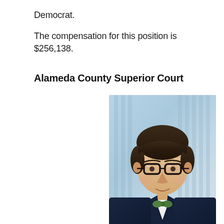Democrat.
The compensation for this position is $256,138.
Alameda County Superior Court
[Figure (photo): Professional headshot of a man wearing glasses, a dark navy suit, white dress shirt, and a green bow tie with matching green pocket square. Background is a blurred blue-gray building interior.]